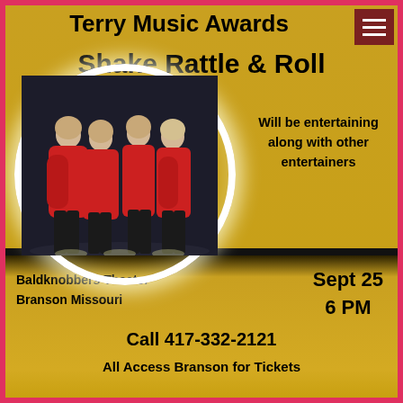Terry Music Awards
Shake Rattle & Roll
[Figure (photo): Four women dressed in red tops and black pants posing together in front of a dark background inside a circular glowing white ring on a gold background.]
Will be entertaining along with other entertainers
Baldknobbers Theater
Branson Missouri
Sept 25
6 PM
Call 417-332-2121
All Access Branson for Tickets